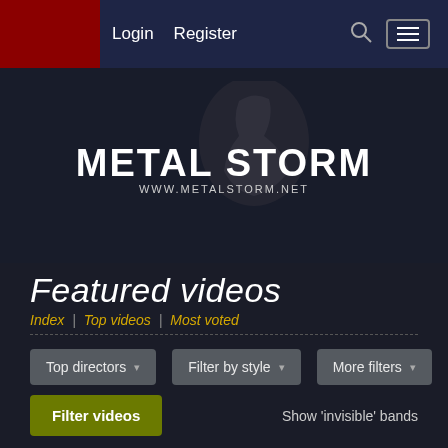Login | Register
[Figure (logo): Metal Storm logo with guitarist silhouette, www.metalstorm.net]
Featured videos
Index | Top videos | Most voted
Top directors ▾  Filter by style ▾  More filters ▾
Filter videos  Show 'invisible' bands
Filter: on [ turn off ]  1  2  3  4  5  ...  15